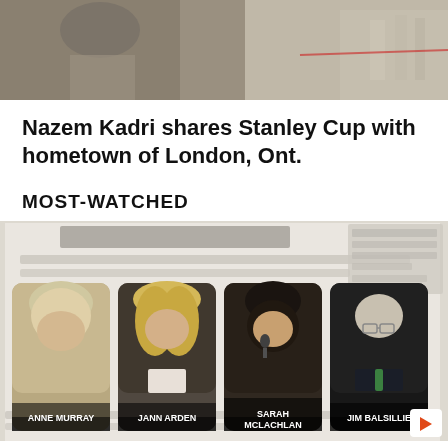[Figure (photo): Top portion of a photo showing people at an outdoor event, partially cropped]
Nazem Kadri shares Stanley Cup with hometown of London, Ont.
MOST-WATCHED
[Figure (screenshot): Most-watched panel showing a document in background with four portrait thumbnails labeled: Anne Murray, Jann Arden, Sarah McLachlan, Jim Balsillie. A play button arrow appears at bottom right.]